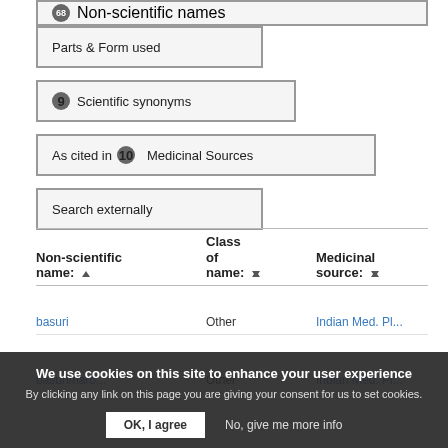68 Non-scientific names
Parts & Form used
9 Scientific synonyms
As cited in 10 Medicinal Sources
Search externally
| Non-scientific name: | Class of name: | Medicinal source: |
| --- | --- | --- |
| basuri | Other | Indian Med. Pl... |
| basunmaro... | Other | Indian Med. Pl... |
We use cookies on this site to enhance your user experience
By clicking any link on this page you are giving your consent for us to set cookies.
OK, I agree   No, give me more info